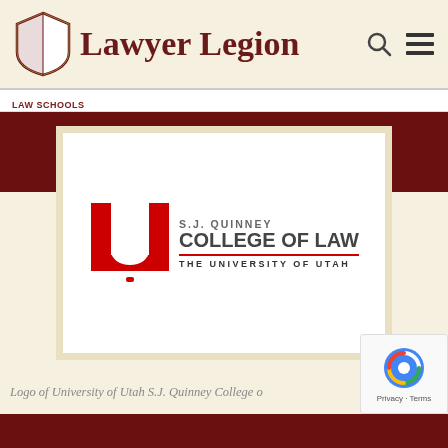Lawyer Legion
LAW SCHOOLS
[Figure (logo): S.J. Quinney College of Law, The University of Utah logo — red block U with text]
Logo of University of Utah S.J. Quinney College o...